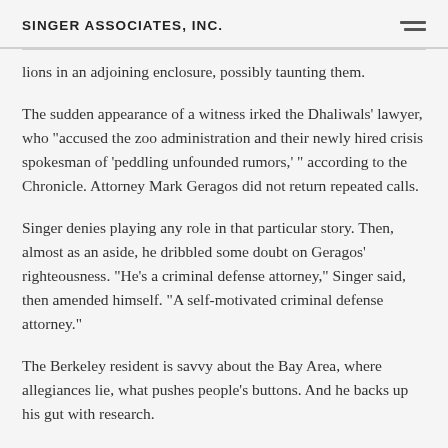Singer Associates, Inc.
lions in an adjoining enclosure, possibly taunting them.
The sudden appearance of a witness irked the Dhaliwals' lawyer, who "accused the zoo administration and their newly hired crisis spokesman of 'peddling unfounded rumors,' " according to the Chronicle. Attorney Mark Geragos did not return repeated calls.
Singer denies playing any role in that particular story. Then, almost as an aside, he dribbled some doubt on Geragos' righteousness. "He's a criminal defense attorney," Singer said, then amended himself. "A self-motivated criminal defense attorney."
The Berkeley resident is savvy about the Bay Area, where allegiances lie, what pushes people's buttons. And he backs up his gut with research.